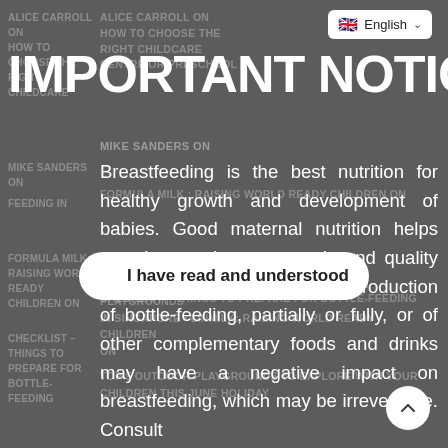[Figure (screenshot): Screenshot of a mobile website modal overlay. Background shows dimmed navigation links. Foreground shows language selector dropdown with UK flag and 'English', a large white bold 'IMPORTANT NOTICE!' heading, author byline 'MIKE SANDERS ON', a block of white body text about breastfeeding nutrition, a white pill-shaped button reading 'I have read and understood', dimmed background navigation links at the bottom, and a circular scroll-to-top button in the bottom right.]